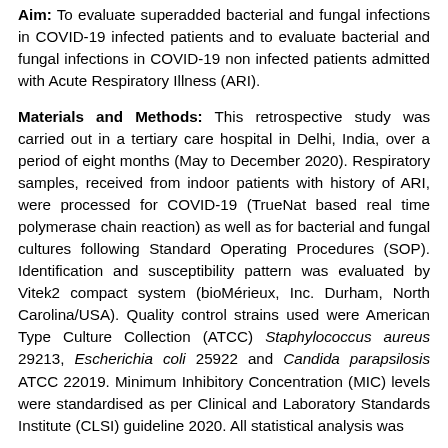Aim: To evaluate superadded bacterial and fungal infections in COVID-19 infected patients and to evaluate bacterial and fungal infections in COVID-19 non infected patients admitted with Acute Respiratory Illness (ARI).
Materials and Methods: This retrospective study was carried out in a tertiary care hospital in Delhi, India, over a period of eight months (May to December 2020). Respiratory samples, received from indoor patients with history of ARI, were processed for COVID-19 (TrueNat based real time polymerase chain reaction) as well as for bacterial and fungal cultures following Standard Operating Procedures (SOP). Identification and susceptibility pattern was evaluated by Vitek2 compact system (bioMérieux, Inc. Durham, North Carolina/USA). Quality control strains used were American Type Culture Collection (ATCC) Staphylococcus aureus 29213, Escherichia coli 25922 and Candida parapsilosis ATCC 22019. Minimum Inhibitory Concentration (MIC) levels were standardised as per Clinical and Laboratory Standards Institute (CLSI) guideline 2020. All statistical analysis was